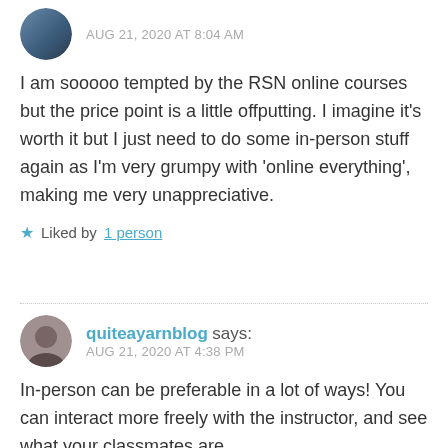AUG 21, 2020 AT 8:04 AM
I am sooooo tempted by the RSN online courses but the price point is a little offputting. I imagine it's worth it but I just need to do some in-person stuff again as I'm very grumpy with 'online everything', making me very unappreciative.
★ Liked by 1 person
quiteayarnblog says: AUG 21, 2020 AT 4:38 PM
In-person can be preferable in a lot of ways! You can interact more freely with the instructor, and see what your classmates are